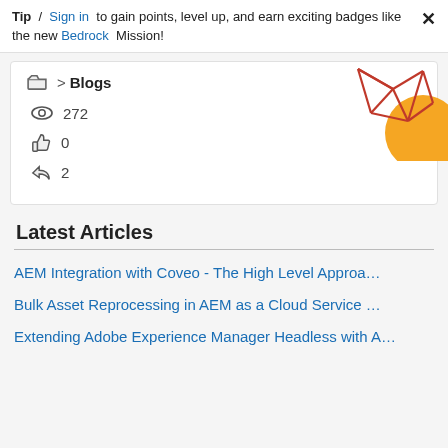Tip / Sign in to gain points, level up, and earn exciting badges like the new Bedrock Mission!
📁 > Blogs
👁 272
👍 0
↩ 2
[Figure (illustration): Decorative geometric/abstract illustration with red lines forming a network shape and an orange semicircle in the top right of the card.]
Latest Articles
AEM Integration with Coveo - The High Level Approa…
Bulk Asset Reprocessing in AEM as a Cloud Service …
Extending Adobe Experience Manager Headless with A…